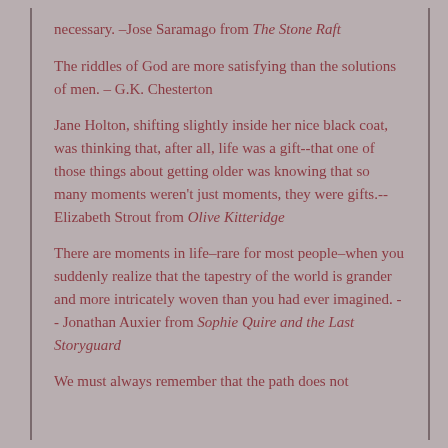necessary. –Jose Saramago from The Stone Raft
The riddles of God are more satisfying than the solutions of men. – G.K. Chesterton
Jane Holton, shifting slightly inside her nice black coat, was thinking that, after all, life was a gift--that one of those things about getting older was knowing that so many moments weren't just moments, they were gifts.-- Elizabeth Strout from Olive Kitteridge
There are moments in life–rare for most people–when you suddenly realize that the tapestry of the world is grander and more intricately woven than you had ever imagined. -- Jonathan Auxier from Sophie Quire and the Last Storyguard
We must always remember that the path does not